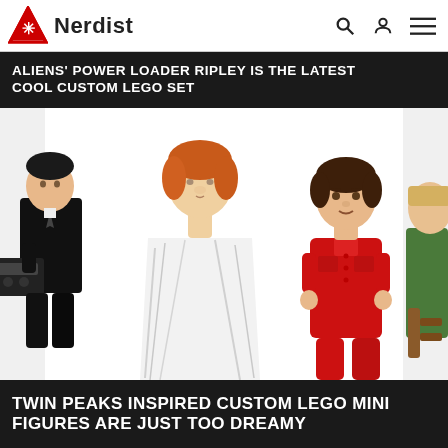Nerdist
ALIENS' POWER LOADER RIPLEY IS THE LATEST COOL CUSTOM LEGO SET
[Figure (photo): Custom LEGO minifigures from Twin Peaks: a figure in a black suit holding a recorder, a figure wrapped in white plastic sheeting with red hair, a figure in a red outfit with dark hair, and a partial figure in green on the right edge]
TWIN PEAKS INSPIRED CUSTOM LEGO MINI FIGURES ARE JUST TOO DREAMY